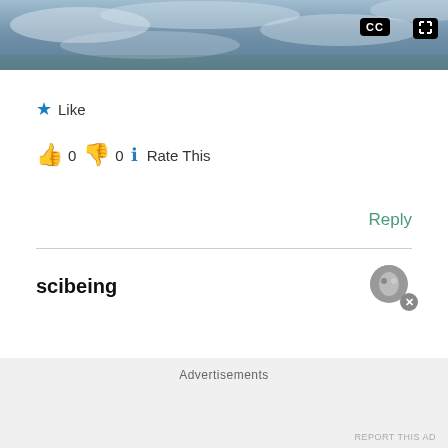[Figure (screenshot): Top portion of a video player showing aerial/satellite view of clouds and terrain, with CC and fullscreen buttons in the top-right corner]
★ Like
👍 0 👎 0 ℹ Rate This
Reply
scibeing
Advertisements
REPORT THIS AD